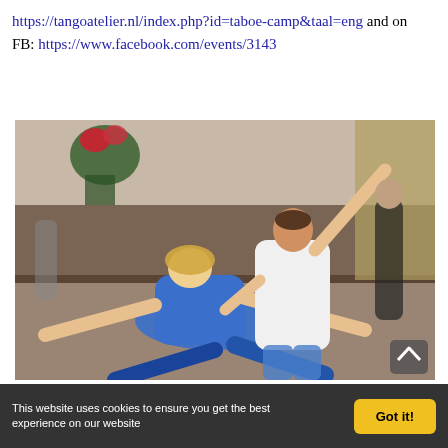https://tangoatelier.nl/index.php?id=taboe-camp&taal=eng and on FB: https://www.facebook.com/events/3143...
[Figure (photo): Two dancers performing a dramatic tango floor move. A woman in a blue tank top leans back low to the ground with arms outstretched, supported by a man in a white shirt who raises one arm. Other dancers visible in background. Indoor dance studio setting.]
This website uses cookies to ensure you get the best experience on our website
Got it!